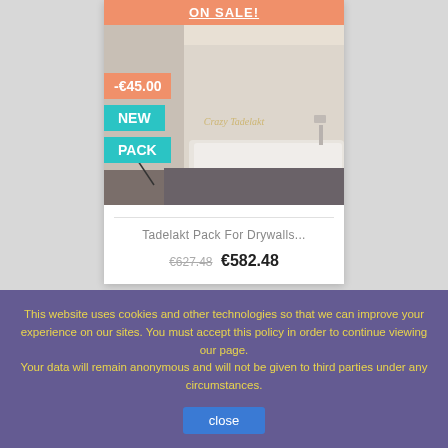[Figure (photo): Product card showing a bathroom renovation photo with a bathtub and white wall panels under construction. Overlaid badges: ON SALE!, -€45.00, NEW, PACK.]
Tadelakt Pack For Drywalls...
€627.48 €582.48
This website uses cookies and other technologies so that we can improve your experience on our sites. You must accept this policy in order to continue viewing our page. Your data will remain anonymous and will not be given to third parties under any circumstances.
close